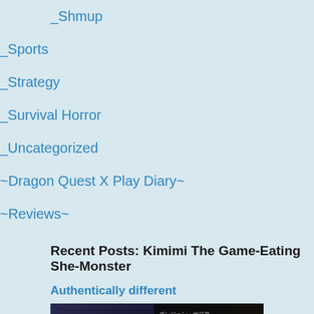_Shmup
_Sports
_Strategy
_Survival Horror
_Uncategorized
~Dragon Quest X Play Diary~
~Reviews~
Recent Posts: Kimimi The Game-Eating She-Monster
Authentically different
[Figure (photo): Photo of Japanese game boxes/media including what appears to be a dungeon-themed game with gold flame-style lettering and Japanese text on the left.]